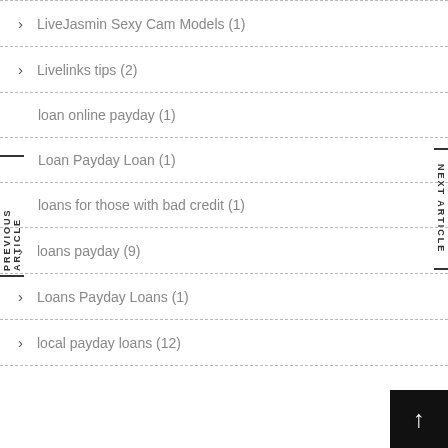LiveJasmin Sexy Cam Models (1)
Livelinks tips (2)
loan online payday (1)
Loan Payday Loan (1)
loans for those with bad credit (1)
loans payday (9)
Loans Payday Loans (1)
local payday loans (12)